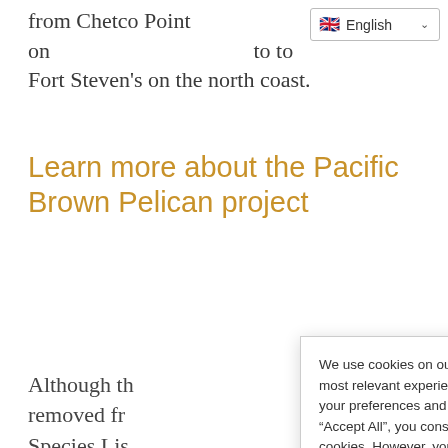from Chetco Point on [English language selector] to to Fort Steven's on the north coast.
Learn more about the Pacific Brown Pelican project
Although th... removed fr... Species Lis... challenging... recent yea... huge nest ... grounds of... California,...
We use cookies on our website to give you the most relevant experience by remembering your preferences and repeat visits. By clicking “Accept All”, you consent to the use of ALL the cookies. However, you may visit “Cookie Settings” to provide a controlled consent. Cookie Policy Do not sell my personal information
Cookie Settings | Accept All